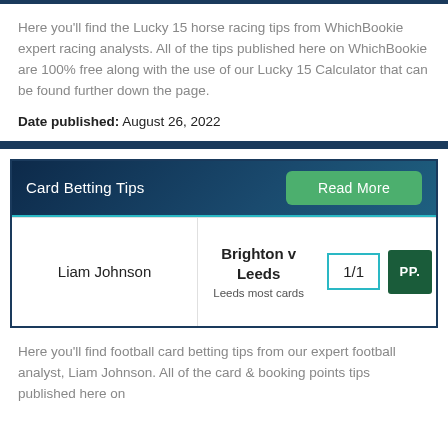Here you'll find the Lucky 15 horse racing tips from WhichBookie expert racing analysts. All of the tips published here on WhichBookie are 100% free along with the use of our Lucky 15 Calculator that can be found further down the page.
Date published: August 26, 2022
| Analyst | Match | Odds | Bookie |
| --- | --- | --- | --- |
| Liam Johnson | Brighton v Leeds
Leeds most cards | 1/1 | PP |
Here you'll find football card betting tips from our expert football analyst, Liam Johnson. All of the card & booking points tips published here on